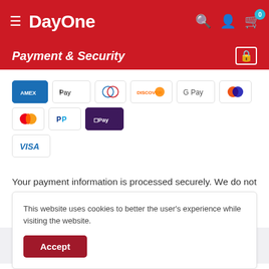DayOne
Payment & Security
[Figure (other): Payment method icons: Amex, Apple Pay, Diners Club, Discover, Google Pay, Maestro, Mastercard, PayPal, ShopPay, Visa]
Your payment information is processed securely. We do not store credit card details nor have access to your credit card information.
This website uses cookies to better the user's experience while visiting the website.